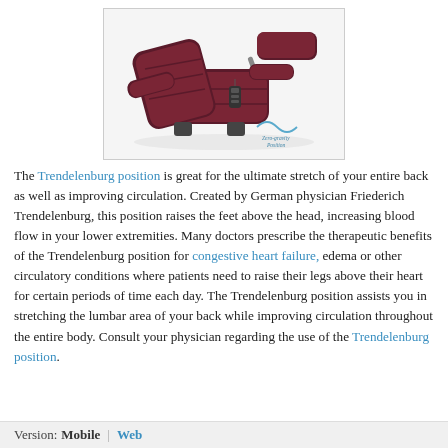[Figure (photo): A dark burgundy/maroon upholstered recliner lift chair in zero-gravity position with footrest elevated and back reclined, shown in side view. A small remote control hangs on the side. A teal wave logo with 'Zero-gravity Position' label appears in the lower right of the image.]
The Trendelenburg position is great for the ultimate stretch of your entire back as well as improving circulation. Created by German physician Friederich Trendelenburg, this position raises the feet above the head, increasing blood flow in your lower extremities. Many doctors prescribe the therapeutic benefits of the Trendelenburg position for congestive heart failure, edema or other circulatory conditions where patients need to raise their legs above their heart for certain periods of time each day. The Trendelenburg position assists you in stretching the lumbar area of your back while improving circulation throughout the entire body. Consult your physician regarding the use of the Trendelenburg position.
Version:   Mobile  |  Web